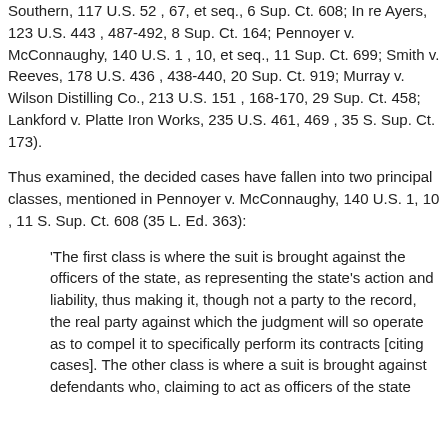Southern, 117 U.S. 52 , 67, et seq., 6 Sup. Ct. 608; In re Ayers, 123 U.S. 443 , 487-492, 8 Sup. Ct. 164; Pennoyer v. McConnaughy, 140 U.S. 1 , 10, et seq., 11 Sup. Ct. 699; Smith v. Reeves, 178 U.S. 436 , 438-440, 20 Sup. Ct. 919; Murray v. Wilson Distilling Co., 213 U.S. 151 , 168-170, 29 Sup. Ct. 458; Lankford v. Platte Iron Works, 235 U.S. 461, 469 , 35 S. Sup. Ct. 173).
Thus examined, the decided cases have fallen into two principal classes, mentioned in Pennoyer v. McConnaughy, 140 U.S. 1, 10 , 11 S. Sup. Ct. 608 (35 L. Ed. 363):
'The first class is where the suit is brought against the officers of the state, as representing the state's action and liability, thus making it, though not a party to the record, the real party against which the judgment will so operate as to compel it to specifically perform its contracts [citing cases]. The other class is where a suit is brought against defendants who, claiming to act as officers of the state